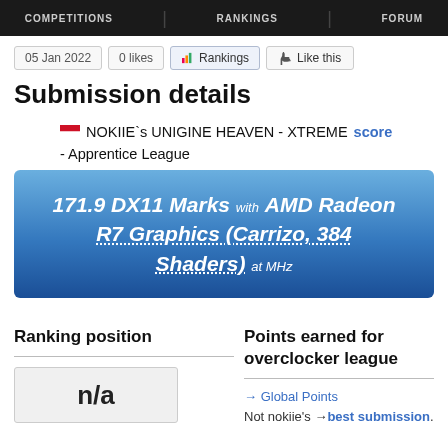COMPETITIONS   RANKINGS   FORUM
05 Jan 2022   0 likes   Rankings   Like this
Submission details
🇮🇩 NOKIIE`s UNIGINE HEAVEN - XTREME score - Apprentice League
[Figure (infographic): Blue gradient box showing: 171.9 DX11 Marks with AMD Radeon R7 Graphics (Carrizo, 384 Shaders) at MHz]
Ranking position
n/a
Points earned for overclocker league
→ Global Points
Not nokiie's → best submission.